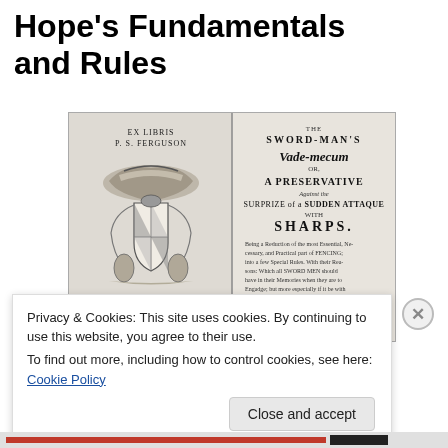Hope's Fundamentals and Rules
[Figure (photo): Scanned title page of 'The Sword-Man's Vade-mecum: or, A Preservative Against the Surprize of a Sudden Attaque with Sharps' with bookplate Ex Libris P. S. Ferguson showing a heraldic crest on the left page.]
Privacy & Cookies: This site uses cookies. By continuing to use this website, you agree to their use.
To find out more, including how to control cookies, see here: Cookie Policy
Close and accept